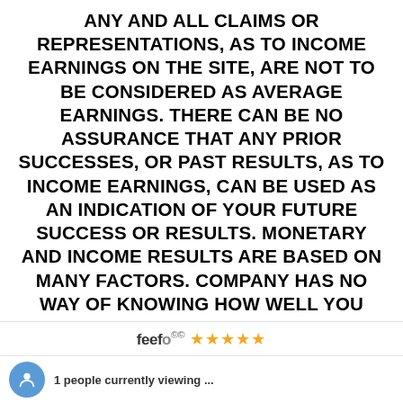ANY AND ALL CLAIMS OR REPRESENTATIONS, AS TO INCOME EARNINGS ON THE SITE, ARE NOT TO BE CONSIDERED AS AVERAGE EARNINGS. THERE CAN BE NO ASSURANCE THAT ANY PRIOR SUCCESSES, OR PAST RESULTS, AS TO INCOME EARNINGS, CAN BE USED AS AN INDICATION OF YOUR FUTURE SUCCESS OR RESULTS. MONETARY AND INCOME RESULTS ARE BASED ON MANY FACTORS. COMPANY HAS NO WAY OF KNOWING HOW WELL YOU WILL DO, AS THEY DO NOT KNOW YOU, YOUR BACKGROUND, YOUR WORK ETHIC, OR YOUR BUSINESS SKILLS OR PRACTICES. THEREFORE, COMPANY DOES NOT GUARANTEE OR IMPLY THAT YOU WILL GET RICH, THAT YOU WILL DO AS WELL, OR THAT YOU WILL MAKE ANY MONEY AT ALL. IF YOU RELY UPON FIGURES PROVIDED IN THE SITE; YO... NOT DOING AS
[Figure (other): Feefo logo with 5 gold stars and overlay notification bar showing '1 people currently viewing ...' with a blue user avatar icon]